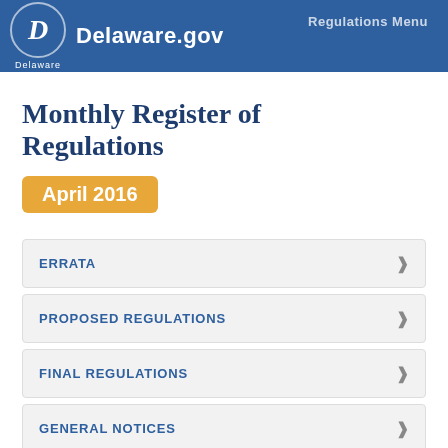Delaware.gov
Monthly Register of Regulations
April 2016
ERRATA
PROPOSED REGULATIONS
FINAL REGULATIONS
GENERAL NOTICES